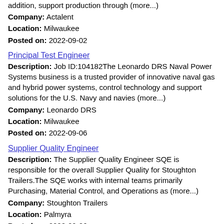addition, support production through (more...)
Company: Actalent
Location: Milwaukee
Posted on: 2022-09-02
Principal Test Engineer
Description: Job ID:104182The Leonardo DRS Naval Power Systems business is a trusted provider of innovative naval gas and hybrid power systems, control technology and support solutions for the U.S. Navy and navies (more...)
Company: Leonardo DRS
Location: Milwaukee
Posted on: 2022-09-06
Supplier Quality Engineer
Description: The Supplier Quality Engineer SQE is responsible for the overall Supplier Quality for Stoughton Trailers.The SQE works with internal teams primarily Purchasing, Material Control, and Operations as (more...)
Company: Stoughton Trailers
Location: Palmyra
Posted on: 2022-09-06
Senior Lead Software Engineer, Backend
Description: 201 Third Street 61049 , United States of America, San Francisco, CaliforniaSenior Lead Software Engineer, Backend As an engineering leader on this team, you'll have the opportunity to guide the direction (more...)